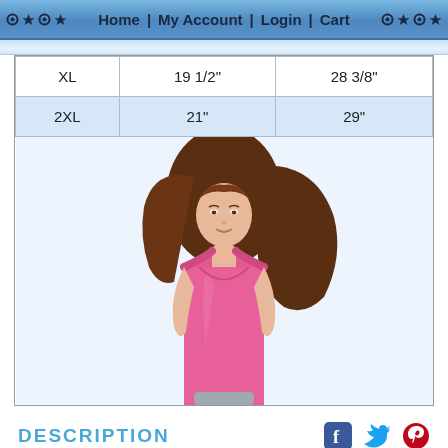◎ ★ ◎ ★   Home  |  My Account  |  Login  |  Cart   ◎ ★ ◎ ★
| XL | 19 1/2" | 28 3/8" |
| 2XL | 21" | 29" |
[Figure (photo): Young woman with flowing brown hair wearing a pink racerback tank top]
DESCRIPTION